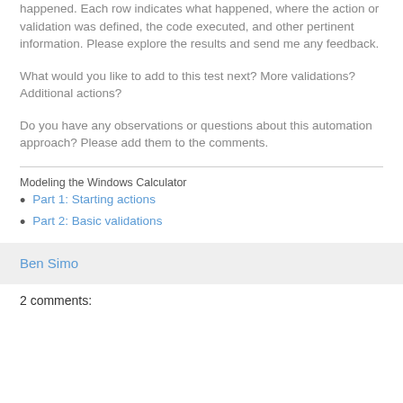happened. Each row indicates what happened, where the action or validation was defined, the code executed, and other pertinent information. Please explore the results and send me any feedback.
What would you like to add to this test next? More validations? Additional actions?
Do you have any observations or questions about this automation approach? Please add them to the comments.
Modeling the Windows Calculator
Part 1: Starting actions
Part 2: Basic validations
Ben Simo
2 comments: